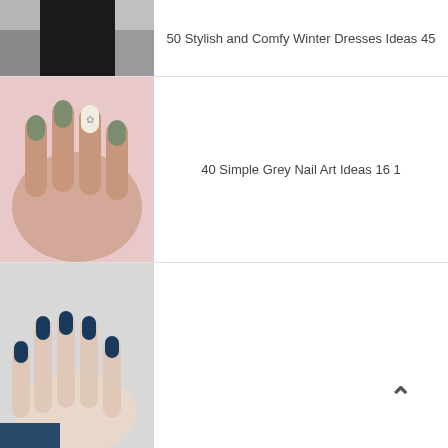[Figure (photo): Partial photo of person wearing dark winter dress, cropped at top]
50 Stylish and Comfy Winter Dresses Ideas 45
[Figure (photo): Close-up of hand with grey/olive matte nail art and decorative accent nail on pink background]
40 Simple Grey Nail Art Ideas 16 1
[Figure (photo): Hand with dark navy blue pointed nails on light grey background]